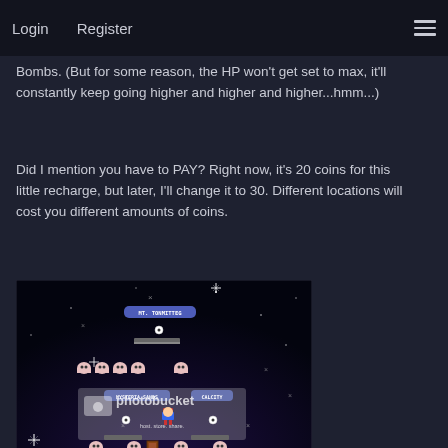Login  Register  ☰
Bombs. (But for some reason, the HP won't get set to max, it'll constantly keep going higher and higher and higher...hmm...)
Did I mention you have to PAY? Right now, it's 20 coins for this little recharge, but later, I'll change it to 30. Different locations will cost you different amounts of coins.
[Figure (screenshot): Pixel art game map screenshot showing locations: MT. TONMITTEG, MYSTERIA SANDS, CALCITY, AWVANIA, FROZZ BARRENS, FOREBODING MANOR. Mario character and ghost enemies visible. Photobucket watermark overlay.]
Teleporters! Sorry, they're out of order right now. The only